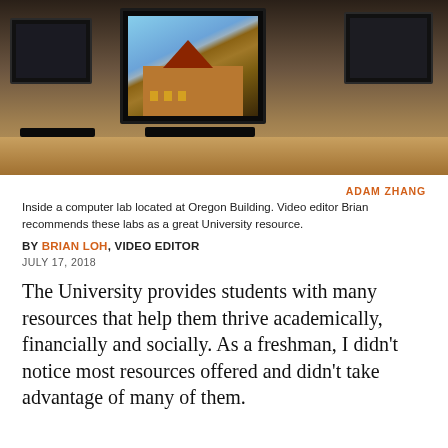[Figure (photo): Inside a computer lab showing multiple monitors on desks, with one monitor displaying what appears to be a university building with a red/brown roof against a blue sky.]
ADAM ZHANG
Inside a computer lab located at Oregon Building. Video editor Brian recommends these labs as a great University resource.
BY BRIAN LOH, VIDEO EDITOR
JULY 17, 2018
The University provides students with many resources that help them thrive academically, financially and socially. As a freshman, I didn’t notice most resources offered and didn’t take advantage of many of them.